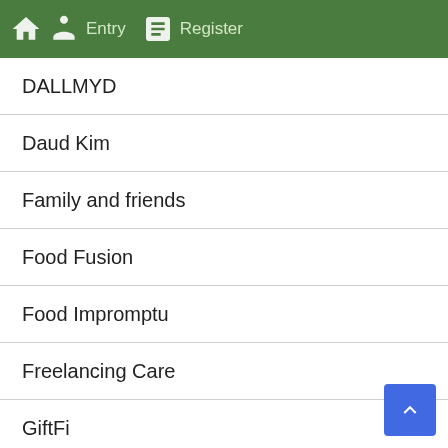Daily Samakta — Entry | Register
DALLMYD
Daud Kim
Family and friends
Food Fusion
Food Impromptu
Freelancing Care
GiftFi
Gillian Perkins